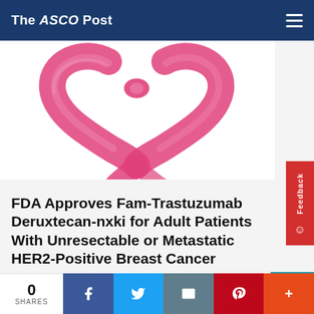The ASCO Post
[Figure (illustration): Pink breast cancer awareness ribbon painted in watercolor/brush stroke style on white background]
FDA Approves Fam-Trastuzumab Deruxtecan-nxki for Adult Patients With Unresectable or Metastatic HER2-Positive Breast Cancer
On May 4, the FDA approved fam-trastuzumab deruxtecan- nxki for pretreated adult patients with
0 SHARES | Facebook | Twitter | Email | Pinterest | More